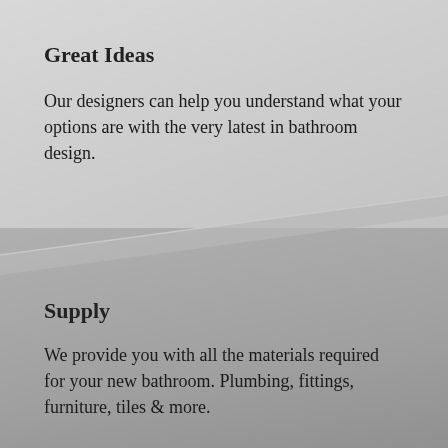Great Ideas
Our designers can help you understand what your options are with the very latest in bathroom design.
Supply
We provide you with all the materials required for your new bathroom. Plumbing, fittings, furniture, tiles & more.